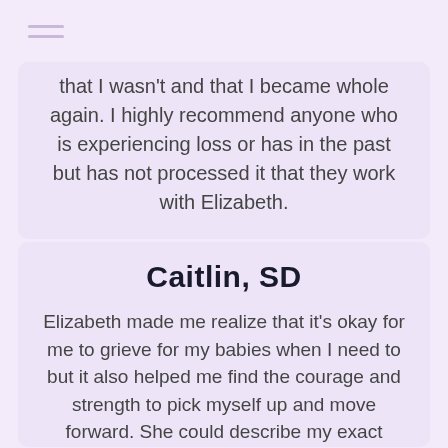that I wasn't and that I became whole again. I highly recommend anyone who is experiencing loss or has in the past but has not processed it that they work with Elizabeth.
Caitlin, SD
Elizabeth made me realize that it's okay for me to grieve for my babies when I need to but it also helped me find the courage and strength to pick myself up and move forward. She could describe my exact feelings and pain that I was having based on her own experience and this was such a wonderful moment for me to know I was not